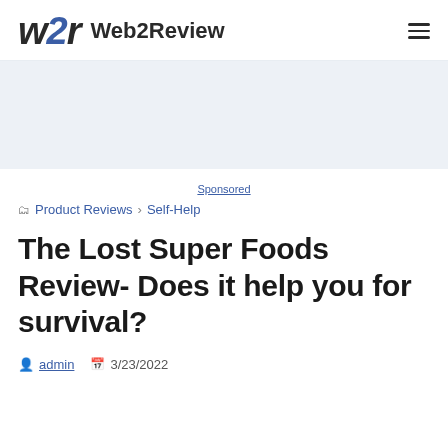w2r Web2Review
[Figure (other): Advertisement / sponsored content placeholder area (light blue-grey background)]
Sponsored
Product Reviews › Self-Help
The Lost Super Foods Review- Does it help you for survival?
admin  3/23/2022